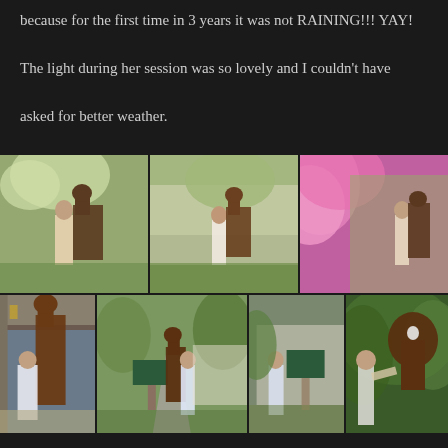because for the first time in 3 years it was not RAINING!!! YAY!

The light during her session was so lovely and I couldn't have asked for better weather.
[Figure (photo): A collage of 7 photographs arranged in two rows showing a young woman with a horse in various outdoor settings. Top row: three photos of a girl and horse near flowering trees and pink blossoms. Bottom row: four photos of a girl and horse near a stable entrance, walking down a driveway, near a school sign, and a close-up of girl and horse in green foliage.]